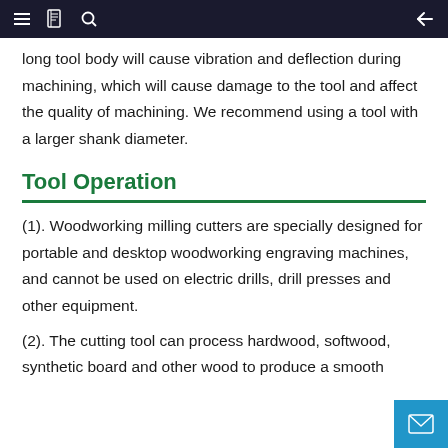Navigation bar with menu, book, search icons and back arrow
long tool body will cause vibration and deflection during machining, which will cause damage to the tool and affect the quality of machining. We recommend using a tool with a larger shank diameter.
Tool Operation
(1). Woodworking milling cutters are specially designed for portable and desktop woodworking engraving machines, and cannot be used on electric drills, drill presses and other equipment.
(2). The cutting tool can process hardwood, softwood, synthetic board and other wood to produce a smooth surface, but it is not easy to avoid worm damage.